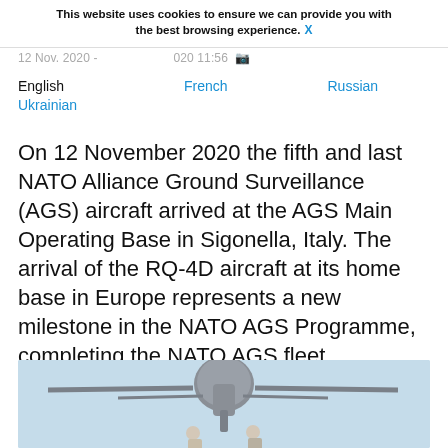This website uses cookies to ensure we can provide you with the best browsing experience. X
12 Nov. 2020 - 12 Nov. 2020 11:56
English   French   Russian   Ukrainian
On 12 November 2020 the fifth and last NATO Alliance Ground Surveillance (AGS) aircraft arrived at the AGS Main Operating Base in Sigonella, Italy. The arrival of the RQ-4D aircraft at its home base in Europe represents a new milestone in the NATO AGS Programme, completing the NATO AGS fleet.
[Figure (photo): Photo of a large NATO RQ-4D Alliance Ground Surveillance drone aircraft on a runway with two people standing beneath it, against a light blue sky.]